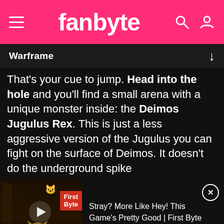fanbyte
Warframe
That's your cue to jump. Head into the hole and you'll find a small arena with a unique monster inside: the Deimos Jugulus Rex. This is just a less aggressive version of the Jugulus you can fight on the surface of Deimos. It doesn't do the underground spike
[Figure (screenshot): Video thumbnail for 'Stray? More Like Hey! This Game's Pretty Good | First Byte' showing a cat with First Byte badge and play button]
Stray? More Like Hey! This Game's Pretty Good | First Byte
[Figure (screenshot): Vrbo advertisement with house image, text 'Find family getaways nearby' and 'Book early' button]